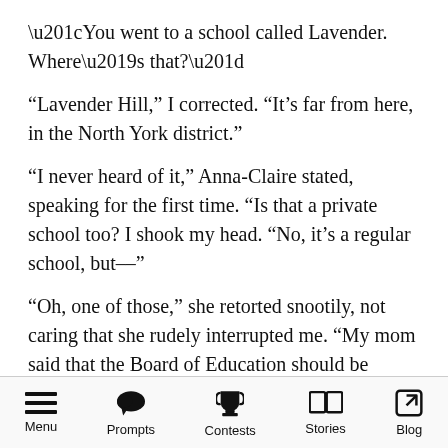“You went to a school called Lavender. Where’s that?”
“Lavender Hill,” I corrected. “It’s far from here, in the North York district.”
“I never heard of it,” Anna-Claire stated, speaking for the first time. “Is that a private school too? I shook my head. “No, it’s a regular school, but––”
“Oh, one of those,” she retorted snootily, not caring that she rudely interrupted me. “My mom said that the Board of Education should be ashamed to call them schools.”
“Actually,” I countered, “my dad said what determines whether a school is good or bad
Menu  Prompts  Contests  Stories  Blog